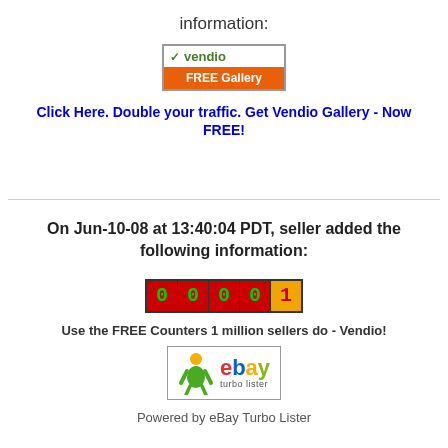information:
[Figure (logo): Vendio FREE Gallery logo with green checkmark and orange banner]
Click Here. Double your traffic. Get Vendio Gallery - Now FREE!
On Jun-10-08 at 13:40:04 PDT, seller added the following information:
[Figure (other): Digital counter showing 00001 with red and yellow digit tiles]
Use the FREE Counters 1 million sellers do - Vendio!
[Figure (logo): eBay Turbo Lister logo with figure and colorful eBay wordmark]
Powered by eBay Turbo Lister